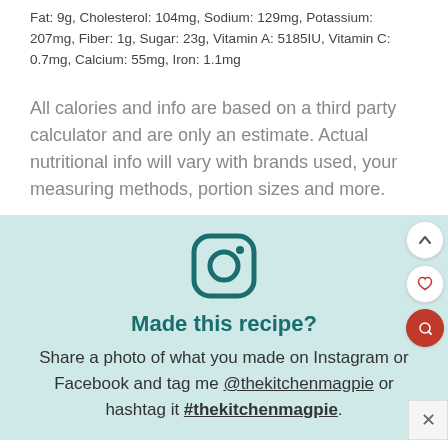Fat: 9g, Cholesterol: 104mg, Sodium: 129mg, Potassium: 207mg, Fiber: 1g, Sugar: 23g, Vitamin A: 5185IU, Vitamin C: 0.7mg, Calcium: 55mg, Iron: 1.1mg
All calories and info are based on a third party calculator and are only an estimate. Actual nutritional info will vary with brands used, your measuring methods, portion sizes and more.
[Figure (logo): Instagram icon in teal]
Made this recipe?
Share a photo of what you made on Instagram or Facebook and tag me @thekitchenmagpie or hashtag it #thekitchenmagpie.
Please rate this recipe in the comments below to help